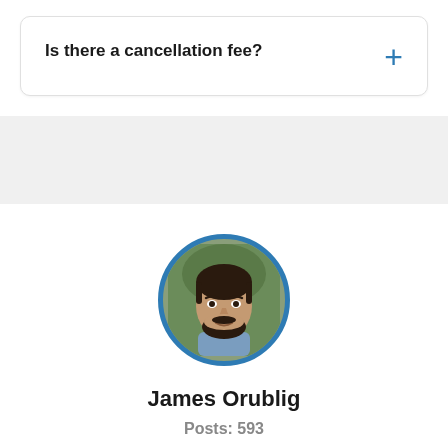Is there a cancellation fee?
[Figure (photo): Circular profile photo of James Orublig, a man with dark hair and beard, with a blue border]
James Orublig
Posts: 593